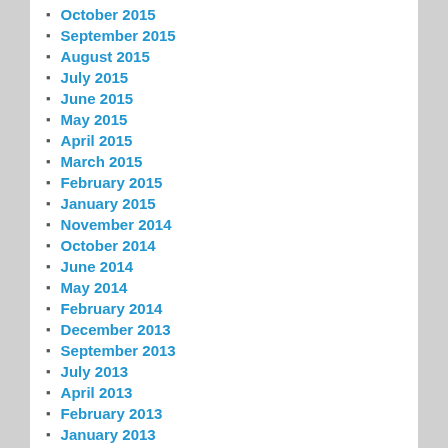October 2015
September 2015
August 2015
July 2015
June 2015
May 2015
April 2015
March 2015
February 2015
January 2015
November 2014
October 2014
June 2014
May 2014
February 2014
December 2013
September 2013
July 2013
April 2013
February 2013
January 2013
December 2012